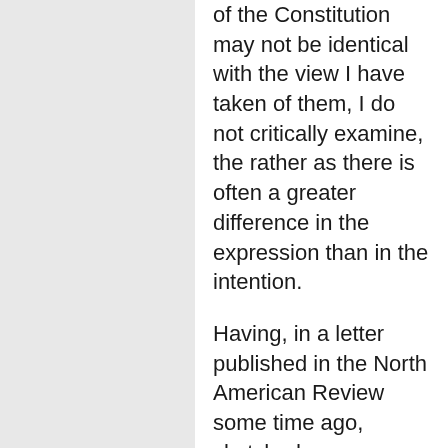of the Constitution may not be identical with the view I have taken of them, I do not critically examine, the rather as there is often a greater difference in the expression than in the intention.
Having, in a letter published in the North American Review some time ago, sketched my understanding of the foundation and frame of our political fabric, you can, if you think the comparison worth making, bring the difference to that test. The letter embraced the subject of nullification, on which our judgments and feelings are without a difference.
I am sensible, sir, of what I owe for the kind terms in which you have forwarded your copies, and I beg you to accept this cordial return for the